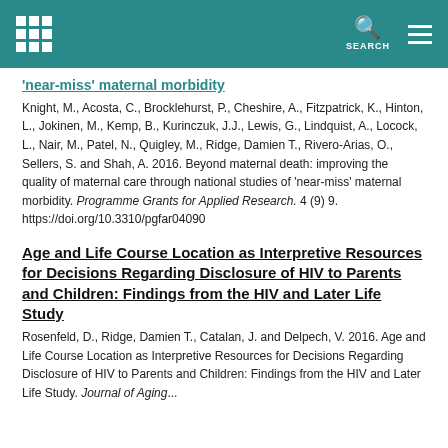'near-miss' maternal morbidity
Knight, M., Acosta, C., Brocklehurst, P., Cheshire, A., Fitzpatrick, K., Hinton, L., Jokinen, M., Kemp, B., Kurinczuk, J.J., Lewis, G., Lindquist, A., Locock, L., Nair, M., Patel, N., Quigley, M., Ridge, Damien T., Rivero-Arias, O., Sellers, S. and Shah, A. 2016. Beyond maternal death: improving the quality of maternal care through national studies of 'near-miss' maternal morbidity. Programme Grants for Applied Research. 4 (9) 9. https://doi.org/10.3310/pgfar04090
Age and Life Course Location as Interpretive Resources for Decisions Regarding Disclosure of HIV to Parents and Children: Findings from the HIV and Later Life Study
Rosenfeld, D., Ridge, Damien T., Catalan, J. and Delpech, V. 2016. Age and Life Course Location as Interpretive Resources for Decisions Regarding Disclosure of HIV to Parents and Children: Findings from the HIV and Later Life Study. Journal of Aging...